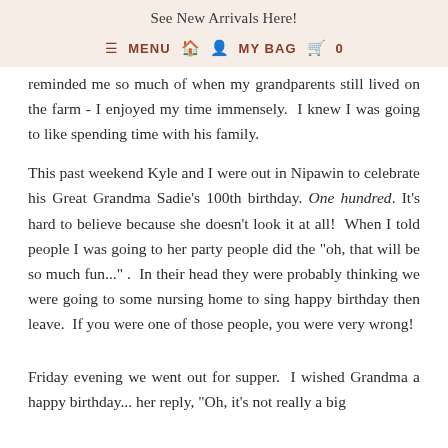See New Arrivals Here!
≡ MENU  🏠  👤  MY BAG  🛍  0
reminded me so much of when my grandparents still lived on the farm - I enjoyed my time immensely.  I knew I was going to like spending time with his family.
This past weekend Kyle and I were out in Nipawin to celebrate his Great Grandma Sadie's 100th birthday. One hundred. It's hard to believe because she doesn't look it at all!  When I told people I was going to her party people did the "oh, that will be so much fun..." .  In their head they were probably thinking we were going to some nursing home to sing happy birthday then leave.  If you were one of those people, you were very wrong!
Friday evening we went out for supper.  I wished Grandma a happy birthday... her reply, "Oh, it's not really a big